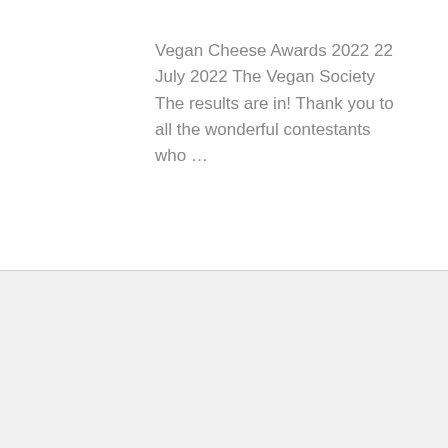Vegan Cheese Awards 2022 22 July 2022 The Vegan Society The results are in! Thank you to all the wonderful contestants who …